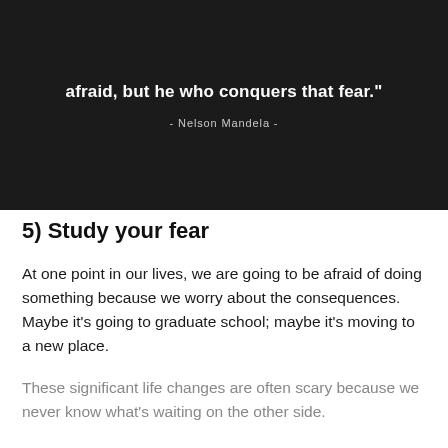[Figure (illustration): Dark textured background with white bold quote text reading '...afraid, but he who conquers that fear.' and attribution '- Nelson Mandela -' in lighter gray text below.]
5) Study your fear
At one point in our lives, we are going to be afraid of doing something because we worry about the consequences. Maybe it’s going to graduate school; maybe it’s moving to a new place.
These significant life changes are often scary because we never know what’s waiting on the other side.